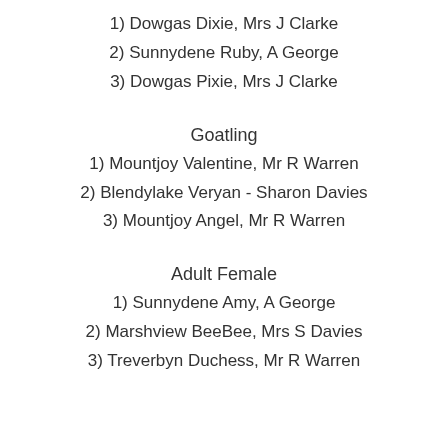1) Dowgas Dixie, Mrs J Clarke
2) Sunnydene Ruby, A George
3) Dowgas Pixie, Mrs J Clarke
Goatling
1) Mountjoy Valentine, Mr R Warren
2) Blendylake Veryan - Sharon Davies
3) Mountjoy Angel, Mr R Warren
Adult Female
1) Sunnydene Amy, A George
2) Marshview BeeBee, Mrs S Davies
3) Treverbyn Duchess, Mr R Warren